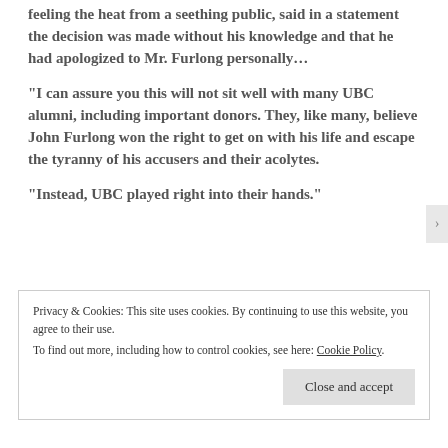feeling the heat from a seething public, said in a statement the decision was made without his knowledge and that he had apologized to Mr. Furlong personally…
“I can assure you this will not sit well with many UBC alumni, including important donors. They, like many, believe John Furlong won the right to get on with his life and escape the tyranny of his accusers and their acolytes.
“Instead, UBC played right into their hands.”
Privacy & Cookies: This site uses cookies. By continuing to use this website, you agree to their use.
To find out more, including how to control cookies, see here: Cookie Policy